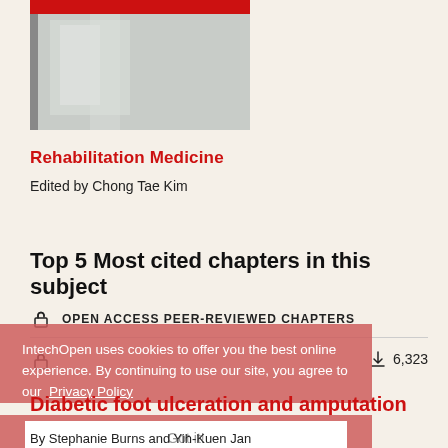[Figure (illustration): Book cover of Rehabilitation Medicine, silver/grey cover with red stripe at top, shown partially]
Rehabilitation Medicine
Edited by Chong Tae Kim
Top 5 Most cited chapters in this subject
OPEN ACCESS PEER-REVIEWED CHAPTERS
IntechOpen uses cookies to offer you the best online experience. By continuing to use our site, you agree to our Privacy Policy
Diabetic foot ulceration and amputation
Got it!
By Stephanie Burns and Yih-Kuen Jan
6,323